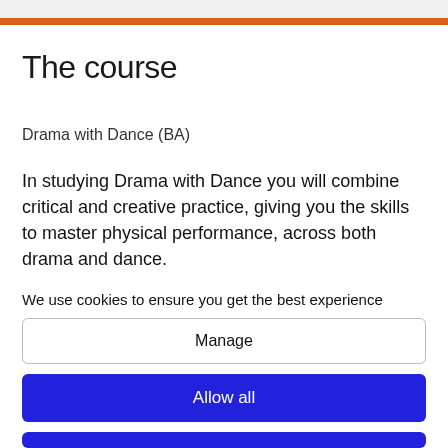The course
Drama with Dance (BA)
In studying Drama with Dance you will combine critical and creative practice, giving you the skills to master physical performance, across both drama and dance.
On this course the text and the body, thinking and doing, work together. There's no barrier between theory and practice: theory helps you understand and
We use cookies to ensure you get the best experience
Manage
Allow all